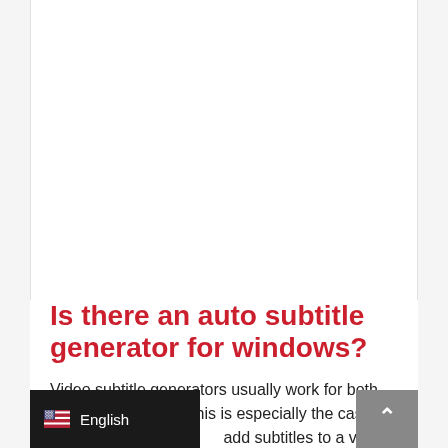Is there an auto subtitle generator for windows?
Video subtitle generators usually work for both windows and mac. This is especially the case when using s... add subtitles to a video. No matter the